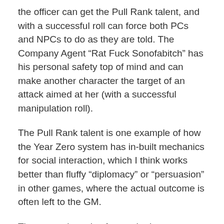the officer can get the Pull Rank talent, and with a successful roll can force both PCs and NPCs to do as they are told. The Company Agent “Rat Fuck Sonofabitch” has his personal safety top of mind and can make another character the target of an attack aimed at her (with a successful manipulation roll).
The Pull Rank talent is one example of how the Year Zero system has in-built mechanics for social interaction, which I think works better than fluffy “diplomacy” or “persuasion” in other games, where the actual outcome is often left to the GM.
There are also rules for synthetics … excuse me, artificial persons. They are in most ways better than a human PC, but they also have a few limitations.